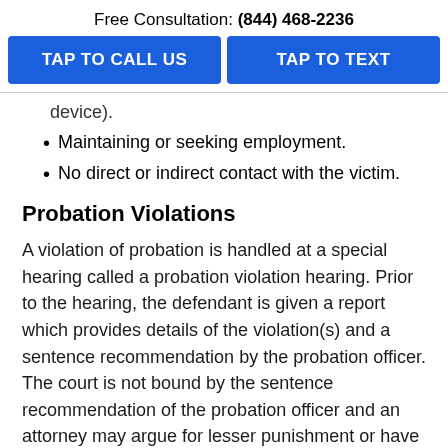Free Consultation: (844) 468-2236
TAP TO CALL US
TAP TO TEXT
device).
Maintaining or seeking employment.
No direct or indirect contact with the victim.
Probation Violations
A violation of probation is handled at a special hearing called a probation violation hearing. Prior to the hearing, the defendant is given a report which provides details of the violation(s) and a sentence recommendation by the probation officer. The court is not bound by the sentence recommendation of the probation officer and an attorney may argue for lesser punishment or have